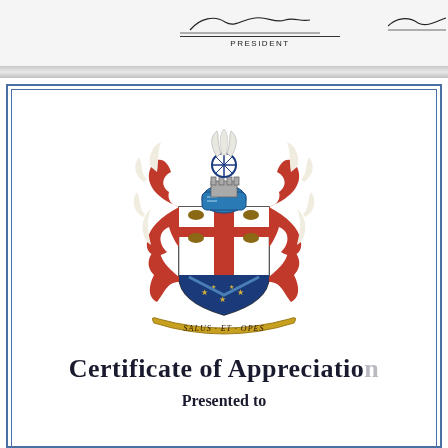PRESIDENT
[Figure (logo): Coat of arms / heraldic crest with motto 'SALUS ET OPES', featuring a shield with red cross, blue chevron and stars, topped with a helmet and red mantling, with a wheel and feather crest]
Certificate of Appreciation
Presented to